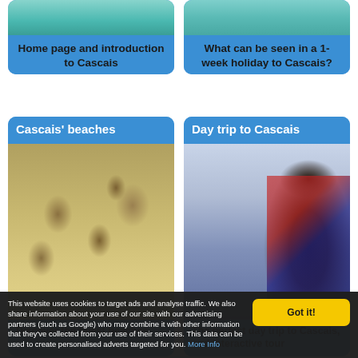[Figure (screenshot): Top-left card: photo of teal/green water scene, with blue caption area reading 'Home page and introduction to Cascais']
[Figure (screenshot): Top-right card: photo of teal/green water scene, with blue caption area reading 'What can be seen in a 1-week holiday to Cascais?']
[Figure (screenshot): Bottom-left card: 'Cascais' beaches' title overlay on blue, photo of beach umbrellas/thatched parasols on sandy beach, text 'Discover the finest beaches']
[Figure (screenshot): Bottom-right card: 'Day trip to Cascais' title overlay on blue, photo of woman tourist reading a map, text 'The perfect day trip to Cascais, and interactive tour']
This website uses cookies to target ads and analyse traffic. We also share information about your use of our site with our advertising partners (such as Google) who may combine it with other information that they've collected from your use of their services. This data can be used to create personalised adverts targeted for you. More Info
Got it!